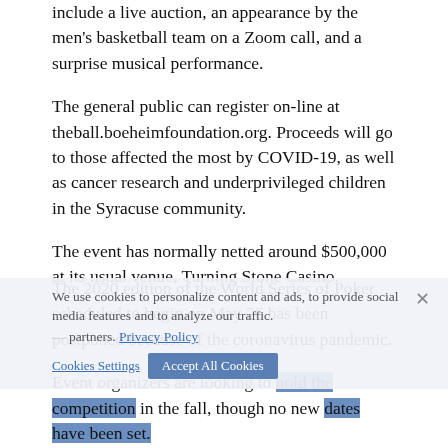include a live auction, an appearance by the men's basketball team on a Zoom call, and a surprise musical performance.
The general public can register on-line at theball.boeheimfoundation.org. Proceeds will go to those affected the most by COVID-19, as well as cancer research and underprivileged children in the Syracuse community.
The event has normally netted around $500,000 at its usual venue, Turning Stone Casino.
The 2020 edition of the World Series of Poker scheduled to begin on May 26 has been postponed because of the coronavirus pandemic.
Event organizers are looking to hold the competition in the fall, though no new dates have been set.